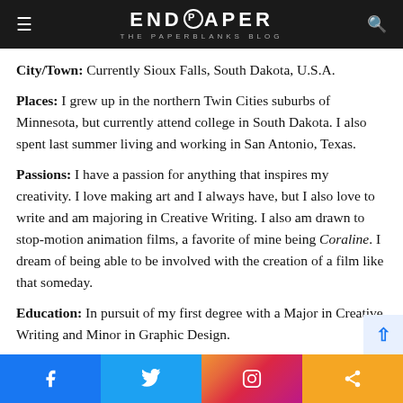ENDPAPER THE PAPERBLANKS BLOG
City/Town: Currently Sioux Falls, South Dakota, U.S.A.
Places: I grew up in the northern Twin Cities suburbs of Minnesota, but currently attend college in South Dakota. I also spent last summer living and working in San Antonio, Texas.
Passions: I have a passion for anything that inspires my creativity. I love making art and I always have, but I also love to write and am majoring in Creative Writing. I also am drawn to stop-motion animation films, a favorite of mine being Coraline. I dream of being able to be involved with the creation of a film like that someday.
Education: In pursuit of my first degree with a Major in Creative Writing and Minor in Graphic Design.
Occupation: I am currently working small-town college student jobs to get by while I study and play volleyball for my
Facebook Twitter Instagram Share